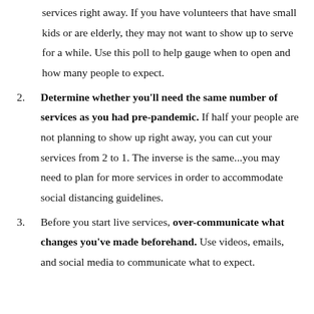services right away. If you have volunteers that have small kids or are elderly, they may not want to show up to serve for a while. Use this poll to help gauge when to open and how many people to expect.
2. Determine whether you'll need the same number of services as you had pre-pandemic. If half your people are not planning to show up right away, you can cut your services from 2 to 1. The inverse is the same...you may need to plan for more services in order to accommodate social distancing guidelines.
3. Before you start live services, over-communicate what changes you've made beforehand. Use videos, emails, and social media to communicate what to expect.